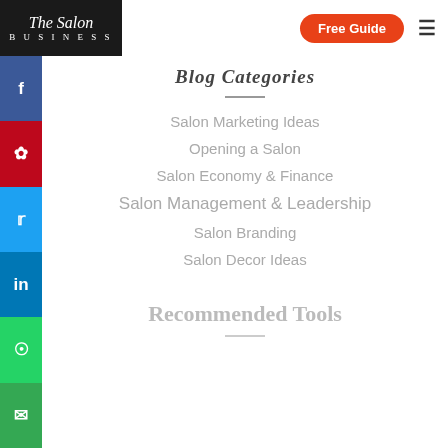The Salon Business — Free Guide
Blog Categories
Salon Marketing Ideas
Opening a Salon
Salon Economy & Finance
Salon Management & Leadership
Salon Branding
Salon Decor Ideas
Recommended Tools